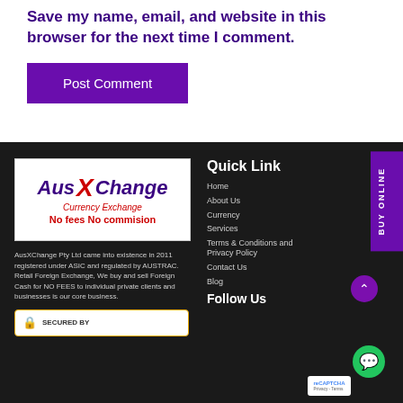Save my name, email, and website in this browser for the next time I comment.
Post Comment
[Figure (logo): AusXChange Currency Exchange logo with text 'No fees No commision']
AusXChange Pty Ltd came into existence in 2011 registered under ASIC and regulated by AUSTRAC. Retail Foreign Exchange, We buy and sell Foreign Cash for NO FEES to individual private clients and businesses is our core business.
[Figure (other): Secured By badge with lock icon]
Quick Link
Home
About Us
Currency
Services
Terms & Conditions and Privacy Policy
Contact Us
Blog
Follow Us